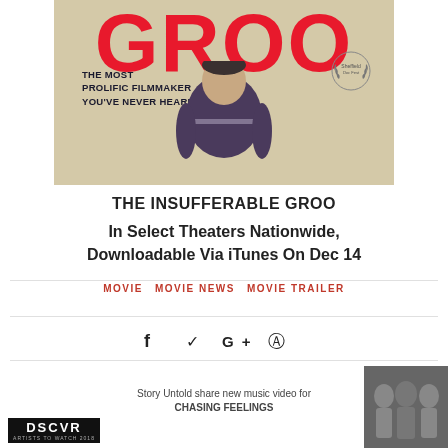[Figure (photo): Movie poster for 'The Insufferable Groo' — large red GROO text at top, tagline 'The most prolific filmmaker you've never heard of', a middle-aged man in a dark t-shirt standing center, laurel wreath award badge top right, tan/beige background.]
THE INSUFFERABLE GROO
In Select Theaters Nationwide, Downloadable Via iTunes On Dec 14
MOVIE  MOVIE NEWS  MOVIE TRAILER
f  ✓  G+  ®
Next
Story Untold share new music video for CHASING FEELINGS
Previous
Vevo DSCVR Artists to